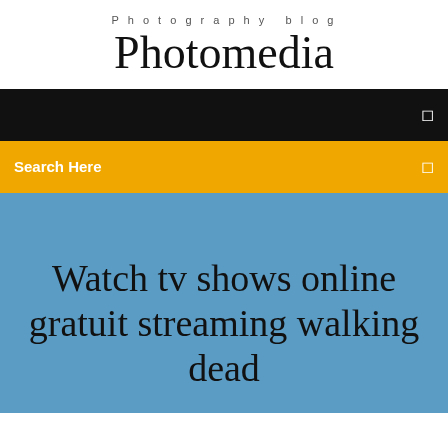Photography blog
Photomedia
Search Here
Watch tv shows online gratuit streaming walking dead